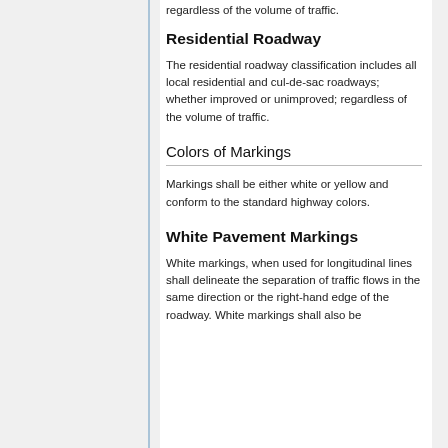regardless of the volume of traffic.
Residential Roadway
The residential roadway classification includes all local residential and cul-de-sac roadways; whether improved or unimproved; regardless of the volume of traffic.
Colors of Markings
Markings shall be either white or yellow and conform to the standard highway colors.
White Pavement Markings
White markings, when used for longitudinal lines shall delineate the separation of traffic flows in the same direction or the right-hand edge of the roadway. White markings shall also be